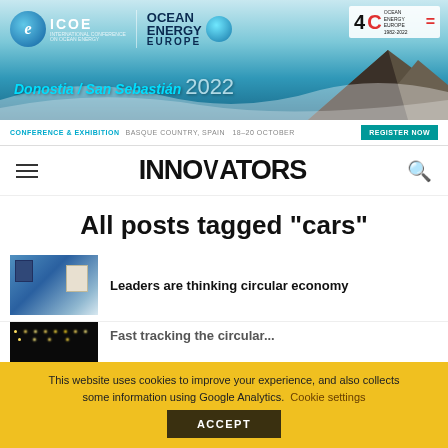[Figure (photo): ICOE / Ocean Energy Europe conference banner for Donostia / San Sebastián 2022, with ocean wave background and logos]
CONFERENCE & EXHIBITION   BASQUE COUNTRY, SPAIN   18–20 OCTOBER   REGISTER NOW
INNOVATORS
All posts tagged "cars"
Leaders are thinking circular economy
This website uses cookies to improve your experience, and also collects some information using Google Analytics.  Cookie settings  ACCEPT